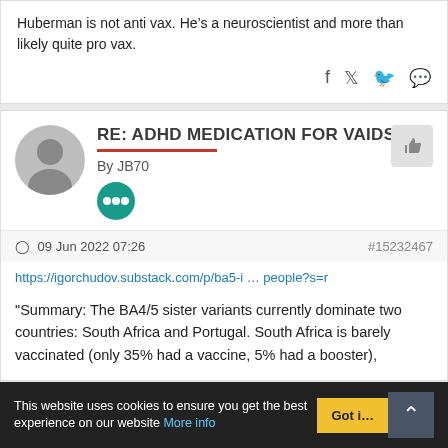Huberman is not anti vax. He’s a neuroscientist and more than likely quite pro vax.
RE: ADHD MEDICATION FOR VAIDS
By JB70
- 09 Jun 2022 07:26   #15232467
https://igorchudov.substack.com/p/ba5-i ... people?s=r
"Summary: The BA4/5 sister variants currently dominate two countries: South Africa and Portugal. South Africa is barely vaccinated (only 35% had a vaccine, 5% had a booster),
This website uses cookies to ensure you get the best experience on our website More info   Got it